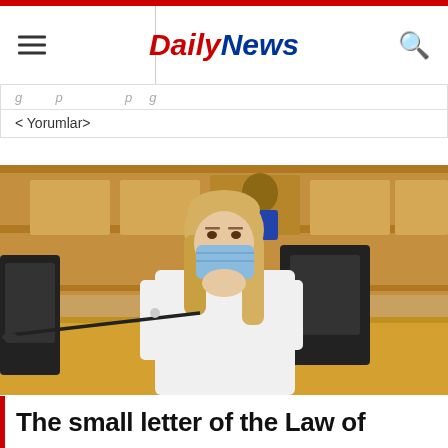Daily News
< Yorumlar>
[Figure (photo): A woman wearing a blue face mask and white jacket sitting in what appears to be a legislative chamber or parliament, with wooden paneling and a microphone visible in the foreground.]
The small letter of the Law of